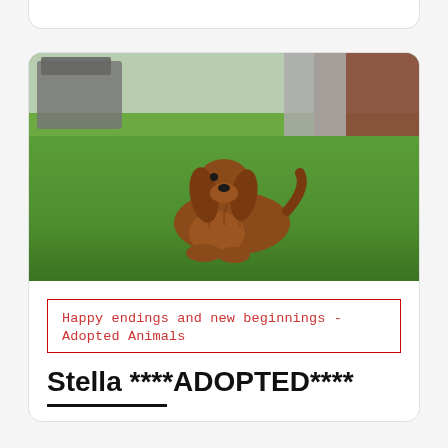[Figure (photo): A golden/red cocker spaniel dog lying on green grass in a garden, with garden furniture and a brick wall visible in the background.]
Happy endings and new beginnings - Adopted Animals
Stella ****ADOPTED****